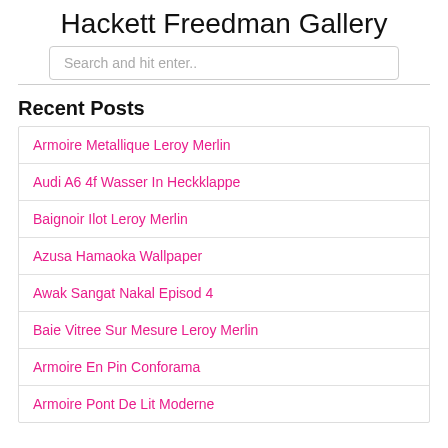Hackett Freedman Gallery
Search and hit enter..
Recent Posts
Armoire Metallique Leroy Merlin
Audi A6 4f Wasser In Heckklappe
Baignoir Ilot Leroy Merlin
Azusa Hamaoka Wallpaper
Awak Sangat Nakal Episod 4
Baie Vitree Sur Mesure Leroy Merlin
Armoire En Pin Conforama
Armoire Pont De Lit Moderne